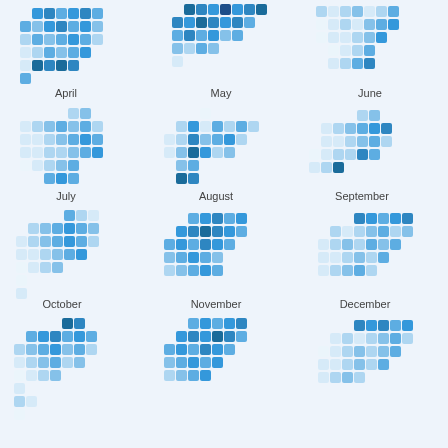[Figure (infographic): Calendar waffle/heatmap grid showing 12 months (April through December plus 3 more) each represented as a grid of colored squares in varying shades of blue indicating activity or data values per day]
April
May
June
July
August
September
October
November
December